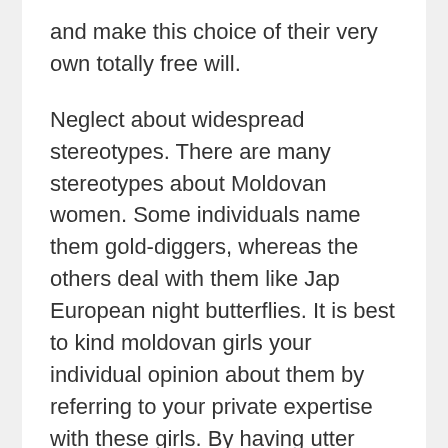and make this choice of their very own totally free will.
Neglect about widespread stereotypes. There are many stereotypes about Moldovan women. Some individuals name them gold-diggers, whereas the others deal with them like Jap European night butterflies. It is best to kind moldovan girls your individual opinion about them by referring to your private expertise with these girls. By having utter respect for his or her uniqueness, you shouldn't divide them into particular varieties.
We've designed our personal approach to reviewing relationship websites. It contains not just the description of features and prices provided by the positioning, but